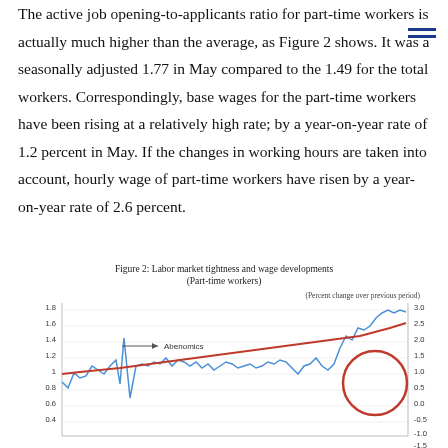The active job opening-to-applicants ratio for part-time workers is actually much higher than the average, as Figure 2 shows. It was a seasonally adjusted 1.77 in May compared to the 1.49 for the total workers. Correspondingly, base wages for the part-time workers have been rising at a relatively high rate; by a year-on-year rate of 1.2 percent in May. If the changes in working hours are taken into account, hourly wage of part-time workers have risen by a year-on-year rate of 2.6 percent.
[Figure (line-chart): Dual-axis line chart showing labor market tightness (left axis, ratio) and wage developments percent change over previous period (right axis). Blue line shows job opening-to-applicants ratio fluctuating upward from ~1.0 to ~1.8. Red line shows wage percent change trending upward from ~1.0 to ~3.0. A red circle highlights recent data. 'Abenomics' arrow annotation marks start of upward trend.]